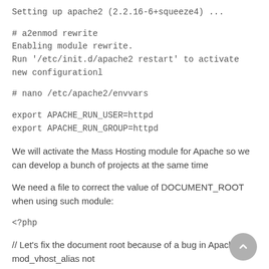Setting up apache2 (2.2.16-6+squeeze4) ...
# a2enmod rewrite
Enabling module rewrite.
Run '/etc/init.d/apache2 restart' to activate new configurationl
# nano /etc/apache2/envvars
export APACHE_RUN_USER=httpd
export APACHE_RUN_GROUP=httpd
We will activate the Mass Hosting module for Apache so we can develop a bunch of projects at the same time
We need a file to correct the value of DOCUMENT_ROOT when using such module:
<?php
// Let's fix the document root because of a bug in Apache's mod_vhost_alias not